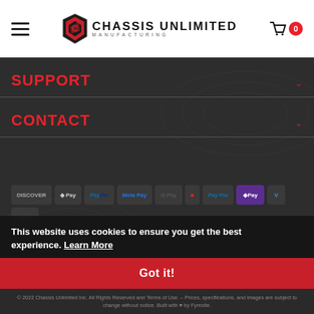Chassis Unlimited Manufacturing — Navigation header with hamburger menu and cart
SUPPORT
CONTACT
[Figure (other): Payment method icons: Discover, Apple Pay, PayPal, Meta Pay, G Pay, and others including Afterpay/D Pay purple badge, Venmo, Visa]
This website uses cookies to ensure you get the best experience. Learn More
Got it!
© 2022 Chassis Unlimited Inc. All Rights Reserved and Terms of Use. – Prices, specifications, and images are subject to change without notice. Built with ♥ by Fyresite.